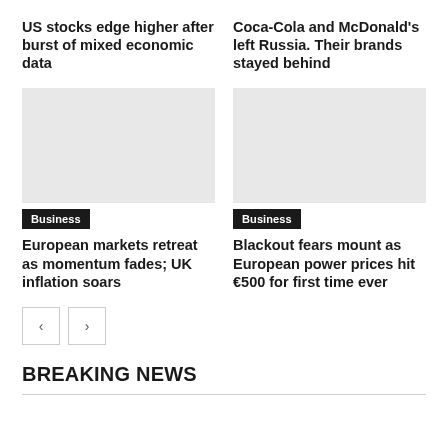US stocks edge higher after burst of mixed economic data
Coca-Cola and McDonald's left Russia. Their brands stayed behind
[Figure (photo): Image placeholder for European markets article]
Business
European markets retreat as momentum fades; UK inflation soars
[Figure (photo): Image placeholder for Blackout fears article]
Business
Blackout fears mount as European power prices hit €500 for first time ever
BREAKING NEWS